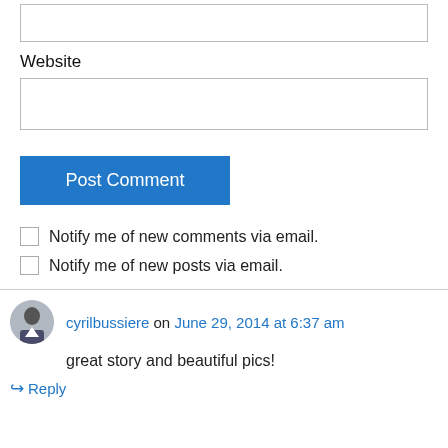[input field top - partial]
Website
[Website input field]
Post Comment
Notify me of new comments via email.
Notify me of new posts via email.
cyrilbussiere on June 29, 2014 at 6:37 am
great story and beautiful pics!
Reply